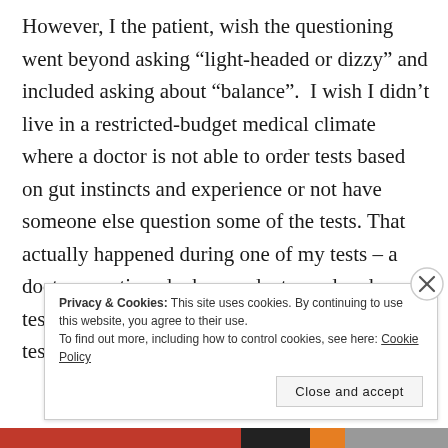However, I the patient, wish the questioning went beyond asking “light-headed or dizzy” and included asking about “balance”.  I wish I didn’t live in a restricted-budget medical climate where a doctor is not able to order tests based on gut instincts and experience or not have someone else question some of the tests. That actually happened during one of my tests – a doctor questioned why my doctor ordered a test.  I have never had a doctor do unnecessary tests.
Privacy & Cookies: This site uses cookies. By continuing to use this website, you agree to their use.
To find out more, including how to control cookies, see here: Cookie Policy
Close and accept